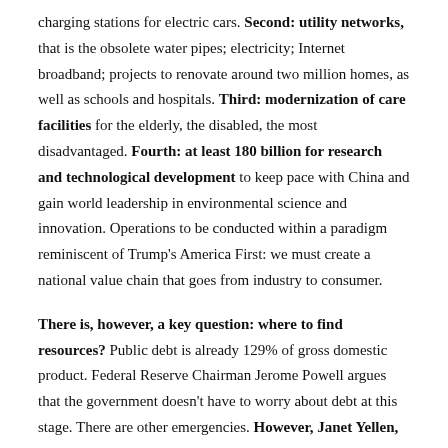charging stations for electric cars. Second: utility networks, that is the obsolete water pipes; electricity; Internet broadband; projects to renovate around two million homes, as well as schools and hospitals. Third: modernization of care facilities for the elderly, the disabled, the most disadvantaged. Fourth: at least 180 billion for research and technological development to keep pace with China and gain world leadership in environmental science and innovation. Operations to be conducted within a paradigm reminiscent of Trump's America First: we must create a national value chain that goes from industry to consumer.
There is, however, a key question: where to find resources? Public debt is already 129% of gross domestic product. Federal Reserve Chairman Jerome Powell argues that the government doesn't have to worry about debt at this stage. There are other emergencies. However, Janet Yellen, Secretary of the Treasury, convinced Biden not to rely on the automatisms of the